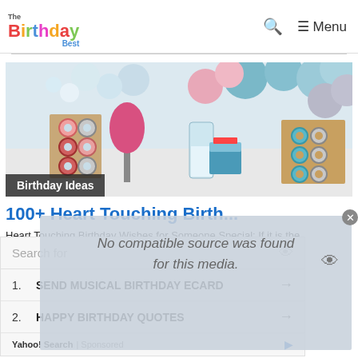The Birthday Best | Menu
[Figure (photo): Birthday party decoration table with donuts on display boards, pink and blue balloons, floral decorations, candy jars, and a birthday cake]
Birthday Ideas
100+ Heart Touching Birth...
Heart Touching Birthday Wishes for Someone Special: If it is the anniversar...
Search for
1. SEND MUSICAL BIRTHDAY ECARD →
2. HAPPY BIRTHDAY QUOTES →
Yahoo! Search | Sponsored